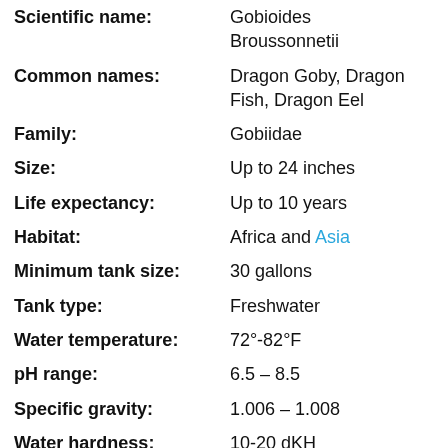| Field | Value |
| --- | --- |
| Scientific name: | Gobioides Broussonnetii |
| Common names: | Dragon Goby, Dragon Fish, Dragon Eel |
| Family: | Gobiidae |
| Size: | Up to 24 inches |
| Life expectancy: | Up to 10 years |
| Habitat: | Africa and Asia |
| Minimum tank size: | 30 gallons |
| Tank type: | Freshwater |
| Water temperature: | 72°-82°F |
| pH range: | 6.5 – 8.5 |
| Specific gravity: | 1.006 – 1.008 |
| Water hardness: | 10-20 dKH |
| Water type: | Soft to medium |